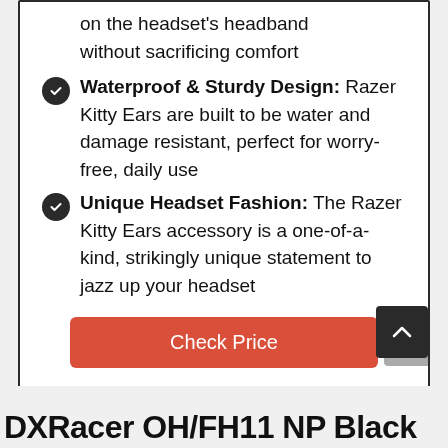on the headset's headband without sacrificing comfort
Waterproof & Sturdy Design: Razer Kitty Ears are built to be water and damage resistant, perfect for worry-free, daily use
Unique Headset Fashion: The Razer Kitty Ears accessory is a one-of-a-kind, strikingly unique statement to jazz up your headset
Check Price
DXRacer OH/FH11 NP Black